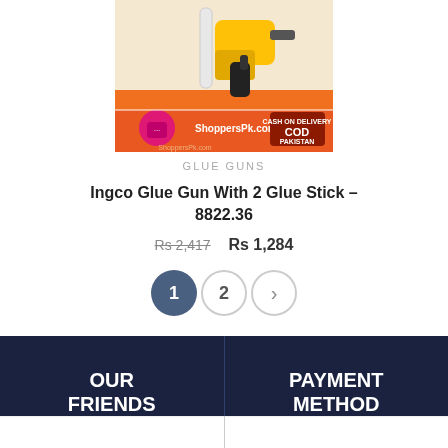[Figure (photo): Product image of Ingco Glue Gun with glue sticks, ShoppersPk.com branding and COD Pakistan badge visible]
GLUE GUNS
Ingco Glue Gun With 2 Glue Stick – 8822.36
Rs 2,417  Rs 1,284
1  2  >
OUR FRIENDS
PAYMENT METHOD